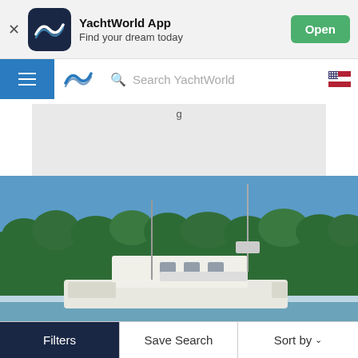[Figure (screenshot): YachtWorld App banner with app icon, name, subtitle and Open button]
[Figure (screenshot): YachtWorld navigation bar with hamburger menu, logo, search field and US flag icon]
[Figure (photo): Photo of a white motor yacht moored near a forested shoreline under a blue sky]
Filters
Save Search
Sort by